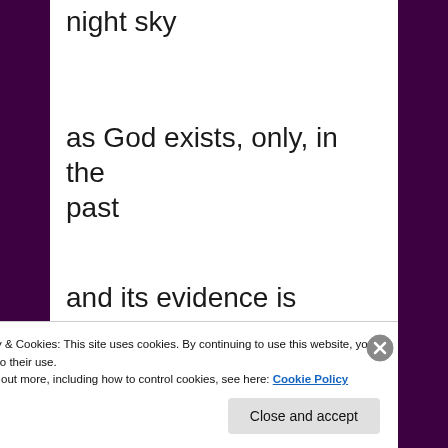night sky
as God exists, only, in the past
and its evidence is reflected
[Figure (screenshot): A row of circular avatar/profile images and a blue button, partially visible at the bottom of the content area, with a bottom action bar showing 'Post on the go' and 'REPORT THIS AD'.]
Privacy & Cookies: This site uses cookies. By continuing to use this website, you agree to their use.
To find out more, including how to control cookies, see here: Cookie Policy
Close and accept